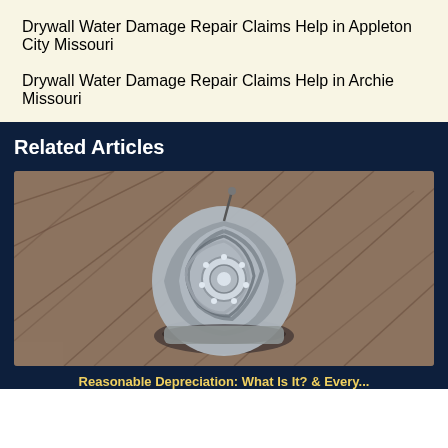Drywall Water Damage Repair Claims Help in Appleton City Missouri
Drywall Water Damage Repair Claims Help in Archie Missouri
Related Articles
[Figure (photo): A metal roof turbine vent lying on a shingled roof surface, viewed from above]
Reasonable Depreciation: What Is It? & Every...